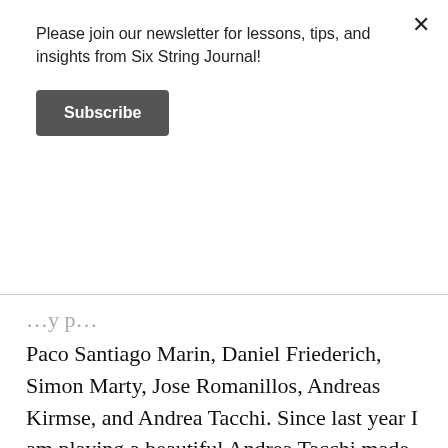Please join our newsletter for lessons, tips, and insights from Six String Journal!
Subscribe
Paco Santiago Marin, Daniel Friederich, Simon Marty, Jose Romanillos, Andreas Kirmse, and Andrea Tacchi. Since last year I am playing a beautiful Andrea Tacchi made of Birdseye maple back and sides and a gorgeous piece of cedar top. The quest after the perfect guitar is a journey of a lifetime. As a matter of fact, there is no perfect guitar, but the ongoing search always fills me with enthusiasm. I have always played Savarez strings. I use a mix of them: 1st string nylon, 2nd and 3rd carbon. All trebles I use normal tension, while the bases are